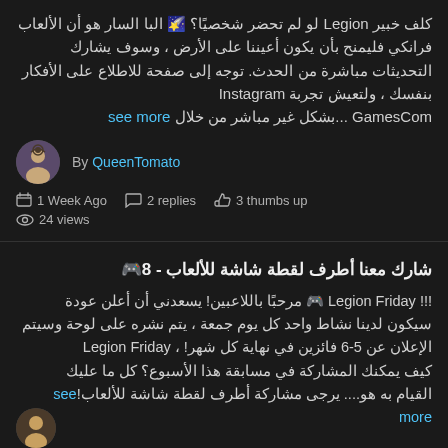كلف خبير Legion لو لم تحضر شخصيًا؟ 🌠 البا السار هو أن الألعاب فرانكي فليمنح بأن يكون أعيننا على الأرض ، وسوف يشارك التحديثات مباشرة من الحدث. توجه إلى صفحة للاطلاع على الأفكار بنفسك ، ولتعيش تجربة Instagram GamesCom ...بشكل غير مباشر من خلال see more
By QueenTomato
1 Week Ago  2 replies  3 thumbs up  24 views
شارك معنا أطرف لقطة شاشة للألعاب - 8🎮
!!! Legion Friday 🎮 مرحبًا باللاعبين! يسعدني أن أعلن عودة سيكون لدينا نشاط واحد كل يوم جمعة ، يتم نشره على لوحة وسيتم الإعلان عن 5-6 فائزين في نهاية كل شهر! ، Legion Friday كيف يمكنك المشاركة في مسابقة هذا الأسبوع؟ كل ما عليك القيام به هو.... يرجى مشاركة أطرف لقطة شاشة للألعاب!see more